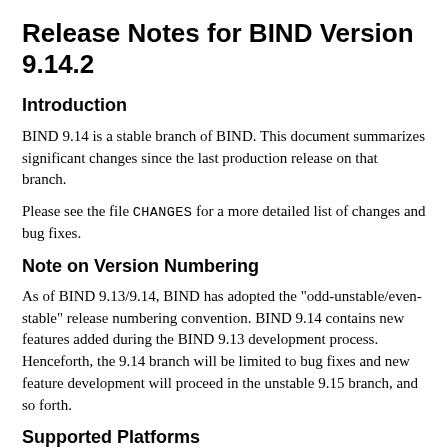Release Notes for BIND Version 9.14.2
Introduction
BIND 9.14 is a stable branch of BIND. This document summarizes significant changes since the last production release on that branch.
Please see the file CHANGES for a more detailed list of changes and bug fixes.
Note on Version Numbering
As of BIND 9.13/9.14, BIND has adopted the "odd-unstable/even-stable" release numbering convention. BIND 9.14 contains new features added during the BIND 9.13 development process. Henceforth, the 9.14 branch will be limited to bug fixes and new feature development will proceed in the unstable 9.15 branch, and so forth.
Supported Platforms
Since 9.12, BIND has undergone substantial code refactoring and cleanup, and some very old code has been removed that was